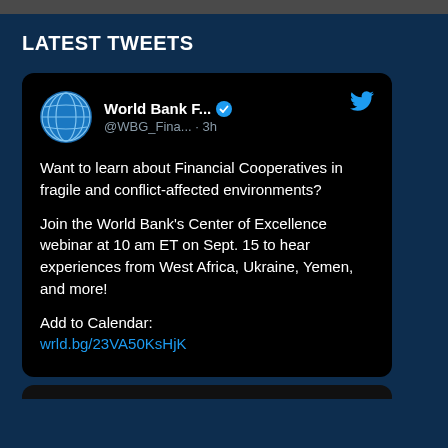LATEST TWEETS
World Bank F... @WBG_Fina... · 3h

Want to learn about Financial Cooperatives in fragile and conflict-affected environments?

Join the World Bank's Center of Excellence webinar at 10 am ET on Sept. 15 to hear experiences from West Africa, Ukraine, Yemen, and more!

Add to Calendar:
wrld.bg/23VA50KsHjK